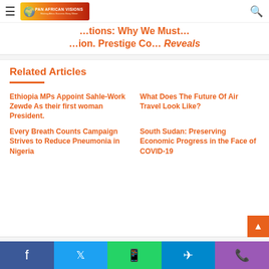Pan African Visions — Making Africa Success Story Shine
...tions: Why We Must... ...ion. Prestige Co... Reveals
Related Articles
Ethiopia MPs Appoint Sahle-Work Zewde As their first woman President.
What Does The Future Of Air Travel Look Like?
Every Breath Counts Campaign Strives to Reduce Pneumonia in Nigeria
South Sudan: Preserving Economic Progress in the Face of COVID-19
Facebook | Twitter | WhatsApp | Telegram | Phone